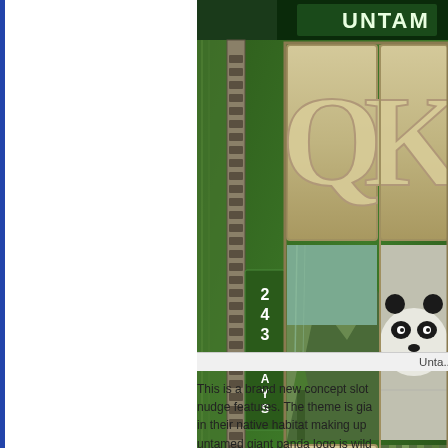[Figure (screenshot): Screenshot of 'Untamed' slot machine game showing reels with Q, K, J card symbols and panda/nature imagery. Shows '243 WAYS' indicator on the left reel strip. Green jungle/bamboo themed background. 'VIEW PAYS' button visible at bottom.]
Unta...
This is a brand new concept slot nudge features. The theme is gia in their native habitat making up untamed giant panda logo is wilc which triggers the free spins. Th typical poker symbols of A, K, Q...